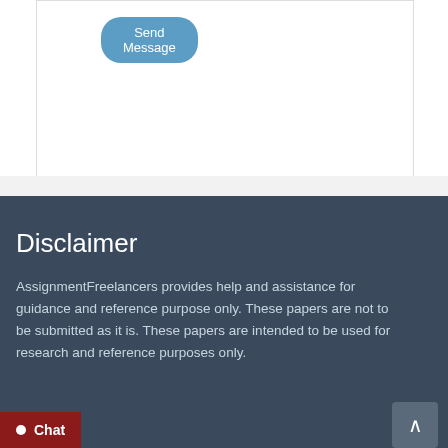[Figure (screenshot): A 'Send Message' button with blue rounded background at top of a white form area]
Disclaimer
AssignmentFreelancers provides help and assistance for guidance and reference purpose only. These papers are not to be submitted as it is. These papers are intended to be used for research and reference purposes only.
Chat